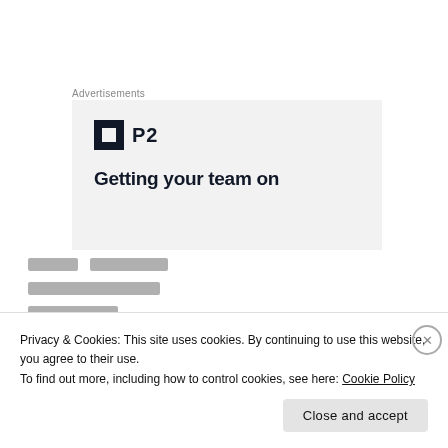Advertisements
[Figure (other): Advertisement banner for P2 product with logo (dark square with white inner square) and tagline 'Getting your team on']
[redacted] [redacted]
[redacted text block]
[redacted text]
Privacy & Cookies: This site uses cookies. By continuing to use this website, you agree to their use.
To find out more, including how to control cookies, see here: Cookie Policy
Close and accept